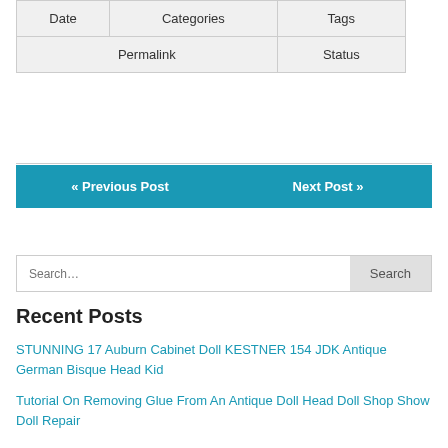| Date | Categories | Tags |
| --- | --- | --- |
| Permalink | Status |  |
« Previous Post
Next Post »
Search...
Recent Posts
STUNNING 17 Auburn Cabinet Doll KESTNER 154 JDK Antique German Bisque Head Kid
Tutorial On Removing Glue From An Antique Doll Head Doll Shop Show Doll Repair